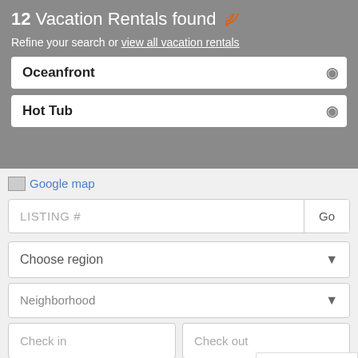12 Vacation Rentals found » Refine your search or view all vacation rentals
Oceanfront ×
Hot Tub ×
[Figure (screenshot): Google map link with broken image placeholder]
LISTING # Go
Choose region ▼
Neighborhood ▼
Check in   Check out
I don't have dates yet
[Figure (logo): reCAPTCHA badge with Privacy and Terms]